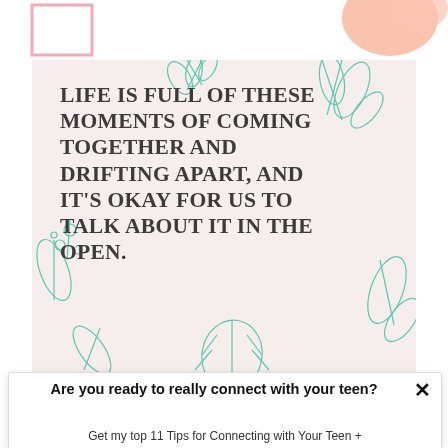[Figure (illustration): Top strip with pink border box on the left and a peach/salmon geometric shape on the right, white background]
[Figure (illustration): Quote card with light beige/pink background, decorative teal botanical line-art illustrations (leaves, flowers, monstera), containing bold uppercase quote text: LIFE IS FULL OF THESE MOMENTS OF COMING TOGETHER AND DRIFTING APART, AND IT'S OKAY FOR US TO TALK ABOUT IT IN THE OPEN.]
Are you ready to really connect with your teen?
Get my top 11 Tips for Connecting with Your Teen +